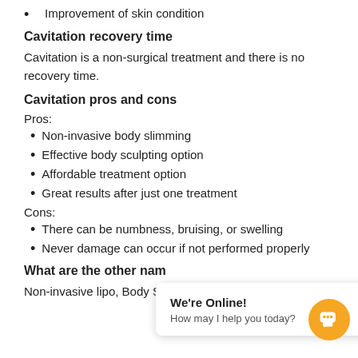Improvement of skin condition
Cavitation recovery time
Cavitation is a non-surgical treatment and there is no recovery time.
Cavitation pros and cons
Pros:
Non-invasive body slimming
Effective body sculpting option
Affordable treatment option
Great results after just one treatment
Cons:
There can be numbness, bruising, or swelling
Never damage can occur if not performed properly
What are the other nam…
Non-invasive lipo, Body Sculpting, Ultrasonic Cavitation,